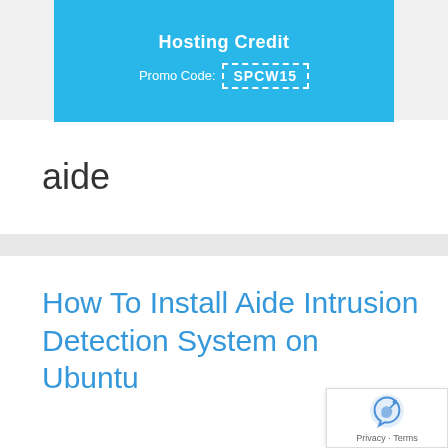[Figure (other): Blue advertisement banner showing 'Hosting Credit' text and a promo code 'SPCW15' in a dashed box]
aide
How To Install Aide Intrusion Detection System on Ubuntu